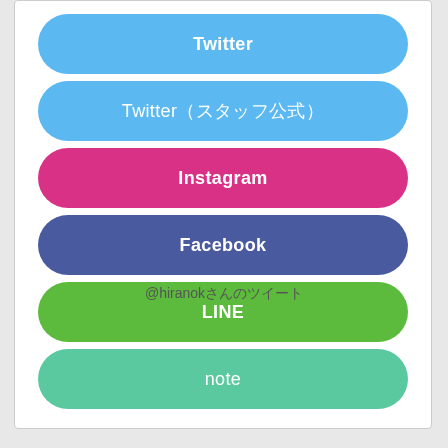[Figure (screenshot): A white card panel containing six social media link buttons with rounded pill shapes: Twitter (blue), Twitter（スタッフ公式）(blue), Instagram (pink/magenta), Facebook (dark blue-purple), LINE (green), note (teal/mint green). Below the card is a text label reading @hiranokさんのツイート on a light gray background.]
@hiranokさんのツイート